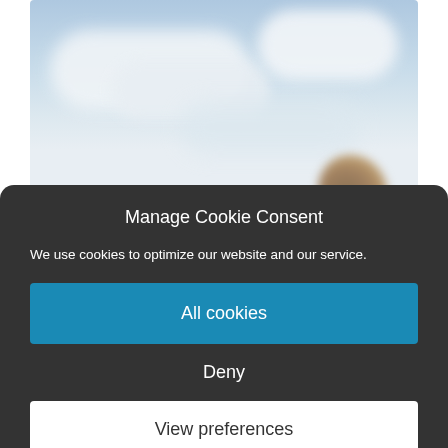[Figure (photo): Blurred outdoor photo showing a cloudy sky with a blurred rock or object in the lower right corner]
Manage Cookie Consent
We use cookies to optimize our website and our service.
All cookies
Deny
View preferences